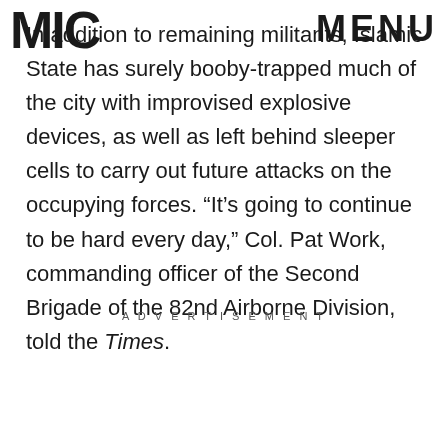MIC  MENU
In addition to remaining militants, Islamic State has surely booby-trapped much of the city with improvised explosive devices, as well as left behind sleeper cells to carry out future attacks on the occupying forces. “It’s going to continue to be hard every day,” Col. Pat Work, commanding officer of the Second Brigade of the 82nd Airborne Division, told the Times.
ADVERTISEMENT